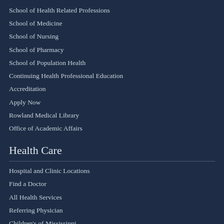School of Health Related Professions
School of Medicine
School of Nursing
School of Pharmacy
School of Population Health
Continuing Health Professional Education
Accreditation
Apply Now
Rowland Medical Library
Office of Academic Affairs
Health Care
Hospital and Clinic Locations
Find a Doctor
All Health Services
Referring Physician
Children's of Mississippi